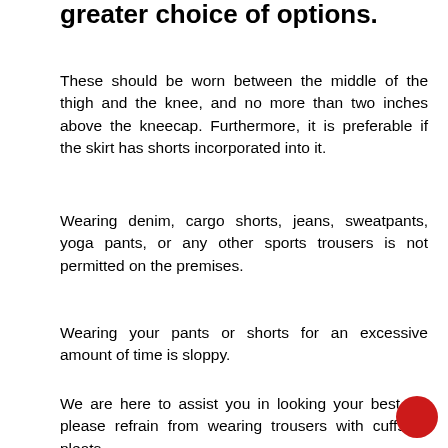greater choice of options.
These should be worn between the middle of the thigh and the knee, and no more than two inches above the kneecap. Furthermore, it is preferable if the skirt has shorts incorporated into it.
Wearing denim, cargo shorts, jeans, sweatpants, yoga pants, or any other sports trousers is not permitted on the premises.
Wearing your pants or shorts for an excessive amount of time is sloppy.
We are here to assist you in looking your best, so please refrain from wearing trousers with cuffs or pleats.